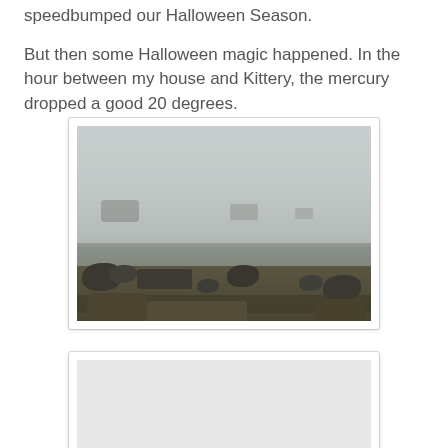speedbumped our Halloween Season.
But then some Halloween magic happened. In the hour between my house and Kittery, the mercury dropped a good 20 degrees.
[Figure (photo): A foggy coastal scene with rocky shoreline covered in seaweed and dark rocks, with misty buildings barely visible in the background fog.]
[Figure (photo): Partially visible second photo, mostly white/light, bottom portion cut off by page.]